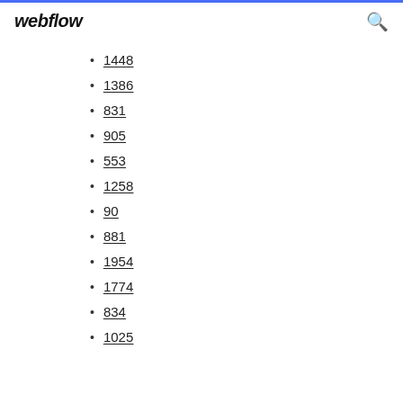webflow
1448
1386
831
905
553
1258
90
881
1954
1774
834
1025